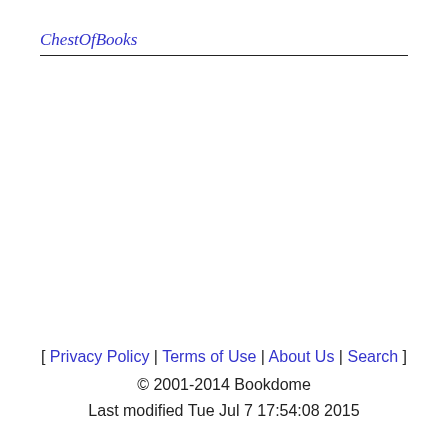ChestOfBooks
[ Privacy Policy | Terms of Use | About Us | Search ] © 2001-2014 Bookdome Last modified Tue Jul 7 17:54:08 2015